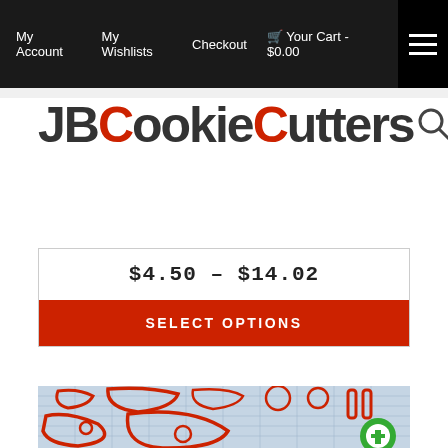My Account  My Wishlists  Checkout  Your Cart - $0.00
[Figure (logo): JBCookieCutters logo with JB and C letters in dark red, rest in dark gray, with search icon]
$4.50 – $14.02
SELECT OPTIONS
[Figure (photo): Red 3D-printed cookie cutters on a grid background, showing various Mario-themed shapes including faces and body parts]